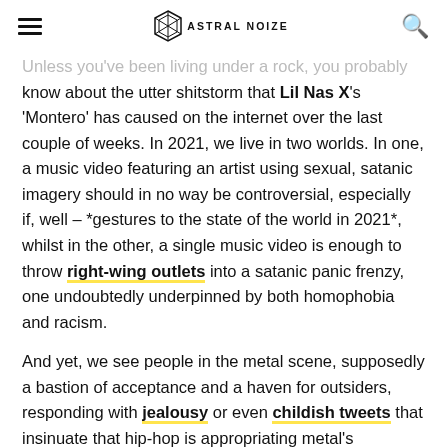ASTRAL NOIZE
Unless you've been living under a rock, you probably know about the utter shitstorm that Lil Nas X's 'Montero' has caused on the internet over the last couple of weeks. In 2021, we live in two worlds. In one, a music video featuring an artist using sexual, satanic imagery should in no way be controversial, especially if, well – *gestures to the state of the world in 2021*, whilst in the other, a single music video is enough to throw right-wing outlets into a satanic panic frenzy, one undoubtedly underpinned by both homophobia and racism.
And yet, we see people in the metal scene, supposedly a bastion of acceptance and a haven for outsiders, responding with jealousy or even childish tweets that insinuate that hip-hop is appropriating metal's aesthetics, as if satan somehow belongs to metal and